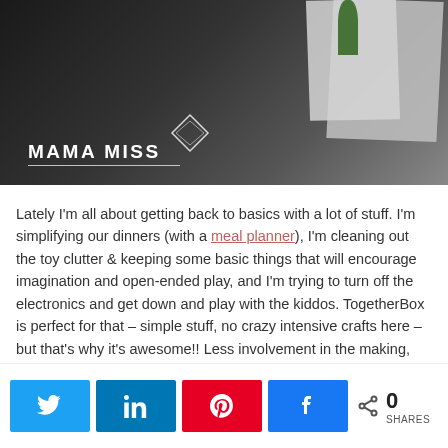[Figure (photo): Dark background hero image with a cardboard box and plant, MAMA MISS logo text and diamond outline in white overlay]
Lately I'm all about getting back to basics with a lot of stuff. I'm simplifying our dinners (with a meal planner), I'm cleaning out the toy clutter & keeping some basic things that will encourage imagination and open-ended play, and I'm trying to turn off the electronics and get down and play with the kiddos. TogetherBox is perfect for that – simple stuff, no crazy intensive crafts here – but that's why it's awesome!! Less involvement in the making, with crazy instructions & complex materials, and more involvement in the doing. &
0 SHARES (Twitter, LinkedIn, Pinterest, Facebook share buttons)